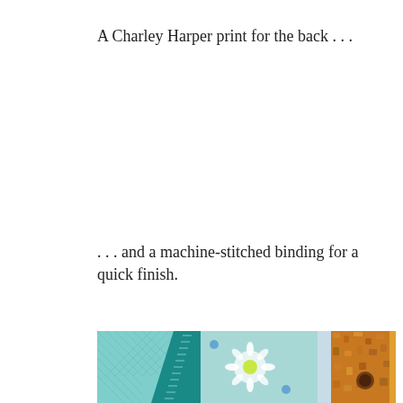A Charley Harper print for the back . . .
. . . and a machine-stitched binding for a quick finish.
[Figure (photo): Close-up photograph of a quilt showing machine-stitched binding with teal/aqua fabric, diagonal quilting pattern, floral print fabric, and orange/brown patterned fabric strips.]